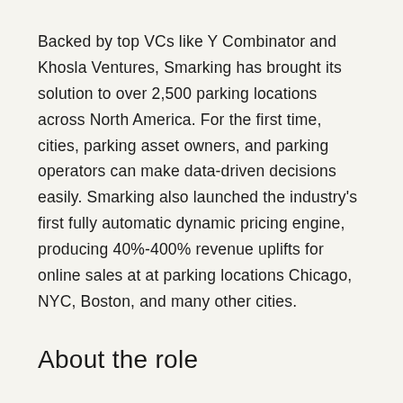Backed by top VCs like Y Combinator and Khosla Ventures, Smarking has brought its solution to over 2,500 parking locations across North America. For the first time, cities, parking asset owners, and parking operators can make data-driven decisions easily. Smarking also launched the industry's first fully automatic dynamic pricing engine, producing 40%-400% revenue uplifts for online sales at at parking locations Chicago, NYC, Boston, and many other cities.
About the role
Smarking is a leading provider of enterprise software and data technology solutions for the massively overlooked $65B global parking industry.